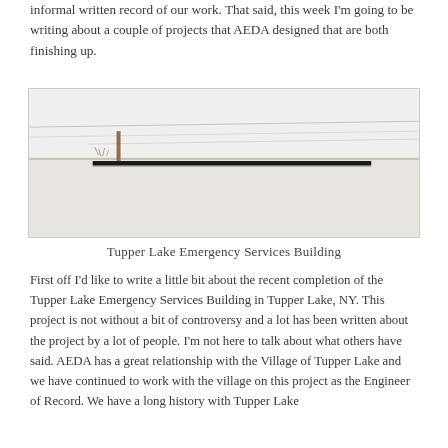informal written record of our work. That said, this week I'm going to be writing about a couple of projects that AEDA designed that are both finishing up.
[Figure (photo): Wide panoramic architectural rendering or photograph showing a minimalist winter landscape with a small structure, dark horizontal bar/beam in the foreground, and sparse trees against a pale sky.]
Tupper Lake Emergency Services Building
First off I'd like to write a little bit about the recent completion of the Tupper Lake Emergency Services Building in Tupper Lake, NY. This project is not without a bit of controversy and a lot has been written about the project by a lot of people. I'm not here to talk about what others have said. AEDA has a great relationship with the Village of Tupper Lake and we have continued to work with the village on this project as the Engineer of Record. We have a long history with Tupper Lake